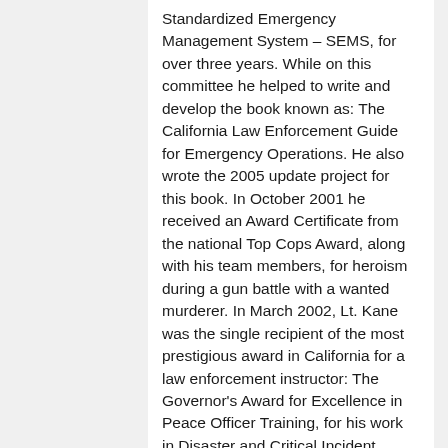Standardized Emergency Management System – SEMS, for over three years. While on this committee he helped to write and develop the book known as: The California Law Enforcement Guide for Emergency Operations. He also wrote the 2005 update project for this book. In October 2001 he received an Award Certificate from the national Top Cops Award, along with his team members, for heroism during a gun battle with a wanted murderer. In March 2002, Lt. Kane was the single recipient of the most prestigious award in California for a law enforcement instructor: The Governor's Award for Excellence in Peace Officer Training, for his work in Disaster and Critical Incident Response training.
Lt. Kane has commanded over fifty critical incidents, and was the Incident Commander at the April 1995 Unabomber attack in Sacramento. After a five year research project, he founded his own